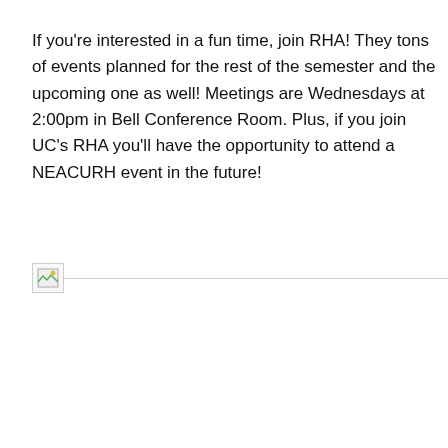If you're interested in a fun time, join RHA! They tons of events planned for the rest of the semester and the upcoming one as well! Meetings are Wednesdays at 2:00pm in Bell Conference Room. Plus, if you join UC's RHA you'll have the opportunity to attend a NEACURH event in the future!
[Figure (photo): Broken image placeholder icon with a horizontal line extending to the right]